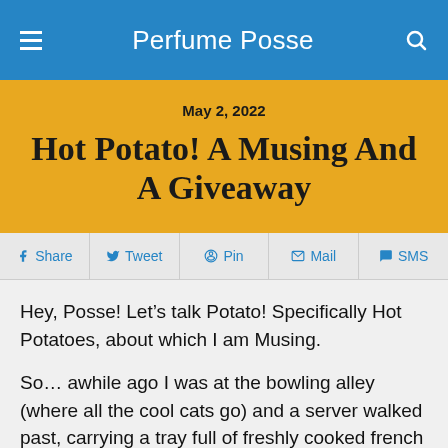Perfume Posse
Hot Potato! A Musing And A Giveaway
May 2, 2022
Share
Tweet
Pin
Mail
SMS
Hey, Posse!  Let's talk Potato!  Specifically Hot Potatoes, about which I am Musing.
So… awhile ago I was at the bowling alley (where all the cool cats go) and a server walked past, carrying a tray full of freshly cooked french fries.